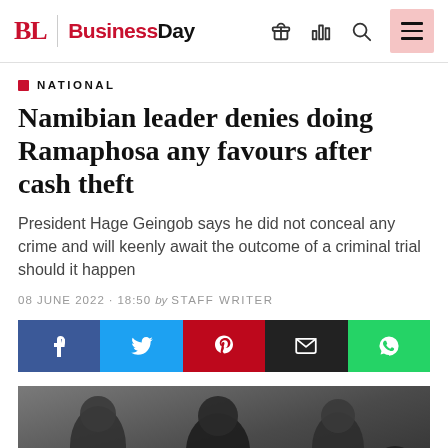BL BusinessDay
NATIONAL
Namibian leader denies doing Ramaphosa any favours after cash theft
President Hage Geingob says he did not conceal any crime and will keenly await the outcome of a criminal trial should it happen
08 JUNE 2022 · 18:50 by STAFF WRITER
[Figure (infographic): Social media share bar with Facebook, Twitter, Pinterest, email, and WhatsApp buttons]
[Figure (photo): Photo of people including a prominent African leader seated at what appears to be a formal meeting or conference]